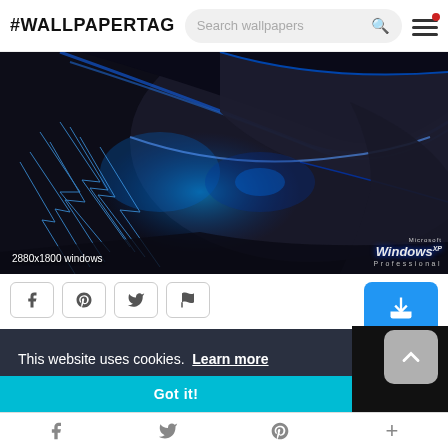#WALLPAPERTAG
[Figure (screenshot): Dark abstract Windows XP Professional wallpaper showing metallic surfaces with blue electric lightning effects. Overlay text reads '2880x1800 windows' and 'Microsoft Windows XP Professional' logo at bottom right.]
2880x1800 windows
[Figure (screenshot): Social sharing buttons: Facebook, Pinterest, Twitter, Flag icons, plus a blue download button]
This website uses cookies.  Learn more
Got it!
Facebook  Twitter  Pinterest  +